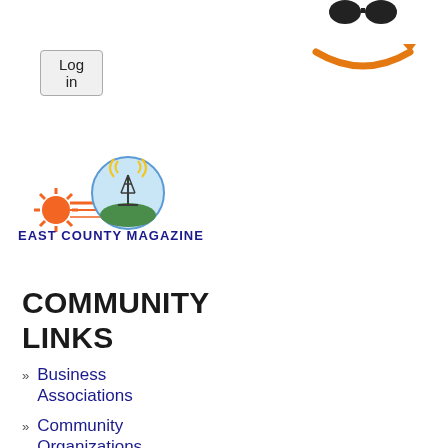[Figure (screenshot): Log in button — grey rounded rectangle button with 'Log in' text]
[Figure (logo): Amazon logo — orange smile/arrow and dark sunglasses icon on white background]
[Figure (logo): East County Magazine logo — sun with rays, radio tower in circular blue badge, text 'EAST COUNTY MAGAZINE' in blue]
COMMUNITY LINKS
Business Associations
Community Organizations
County and City Governments
East County Sports
Immigration and